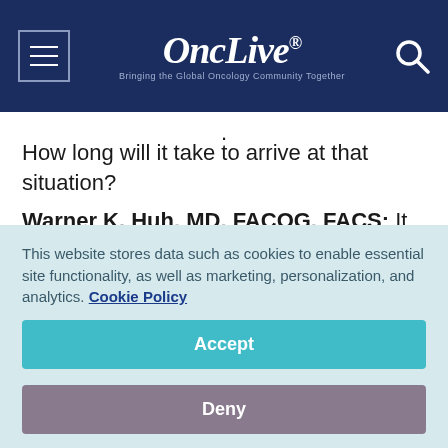OncLive — Bringing the Global Oncology Community Together
.
How long will it take to arrive at that situation?
Warner K. Huh, MD, FACOG, FACS: It could be as fast as 2 to 3 years in the United States. For the rest of the world, it is much longer because of the cost equipoise, but it could be as short as 3 years in the United States.
This website stores data such as cookies to enable essential site functionality, as well as marketing, personalization, and analytics. Cookie Policy
Accept
Deny